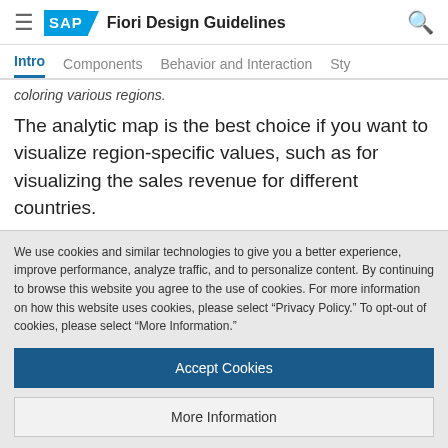SAP Fiori Design Guidelines
Intro | Components | Behavior and Interaction | Sty
coloring various regions.
The analytic map is the best choice if you want to visualize region-specific values, such as for visualizing the sales revenue for different countries.
We use cookies and similar technologies to give you a better experience, improve performance, analyze traffic, and to personalize content. By continuing to browse this website you agree to the use of cookies. For more information on how this website uses cookies, please select “Privacy Policy.” To opt-out of cookies, please select “More Information.”
Accept Cookies
More Information
Privacy Policy | Powered by: TrustArc
The geomap displays geographic elements like roads,